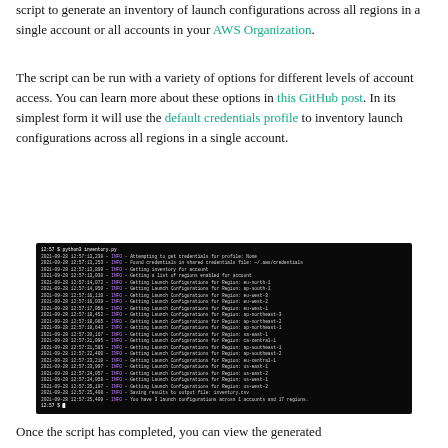script to generate an inventory of launch configurations across all regions in a single account or all accounts in your AWS Organization.
The script can be run with a variety of options for different levels of account access. You can learn more about these options in this GitHub post. In its simplest form it will use the default credentials profile to inventory launch configurations across all regions in a single account.
[Figure (screenshot): Terminal output showing a Python script running inventory.py, listing INFO messages about getting launch configurations for various AWS regions, and saving results to inventory.csv. Final message: You have 3 launch configurations across 1 accounts and 17 regions.]
Once the script has completed, you can view the generated